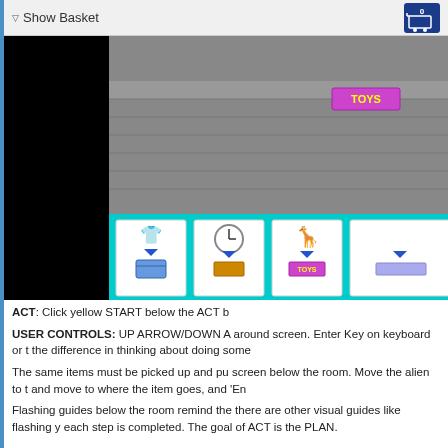Show Basket
[Figure (screenshot): A game screenshot showing a top-down room with grey brick walls and a TOYS sign, and below the room a cyan tray area with icons of a shirt, clock, giraffe toy, and a TOYS box, each with blue down arrows indicating where to place items.]
ACT: Click yellow START below the ACT b
USER CONTROLS: UP ARROW/DOWN A around screen. Enter Key on keyboard or t the difference in thinking about doing some
The same items must be picked up and pu screen below the room. Move the alien to t and move to where the item goes, and 'En
Flashing guides below the room remind the there are other visual guides like flashing y each step is completed. The goal of ACT is the PLAN.